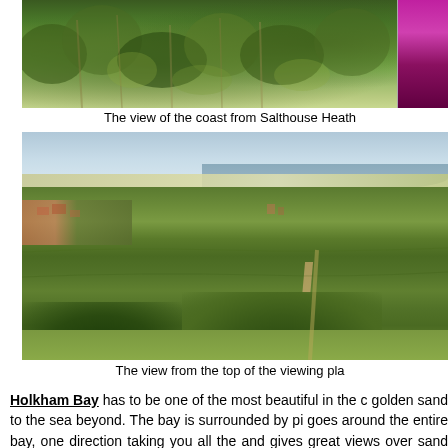[Figure (photo): Photo of dense green vegetation/heath with purple flowering plants on the right side, viewed from Salthouse Heath]
The view of the coast from Salthouse Heath
[Figure (photo): Panoramic landscape photo showing green fields, a village, and a distant coastline with golden sand and sea, viewed from a viewing platform]
The view from the top of the viewing pla
Holkham Bay has to be one of the most beautiful in the c golden sand to the sea beyond. The bay is surrounded by pi goes around the entire bay, one direction taking you all the and gives great views over sand and marshes.